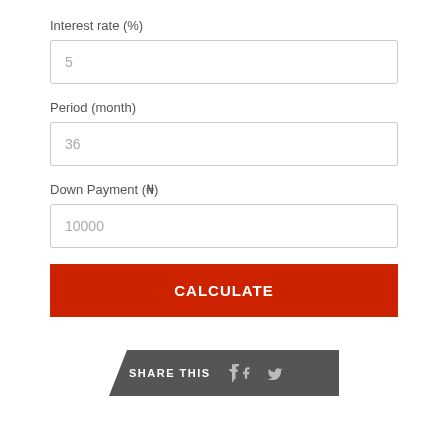Interest rate (%)
5
Period (month)
36
Down Payment (₦)
10000
CALCULATE
SHARE THIS